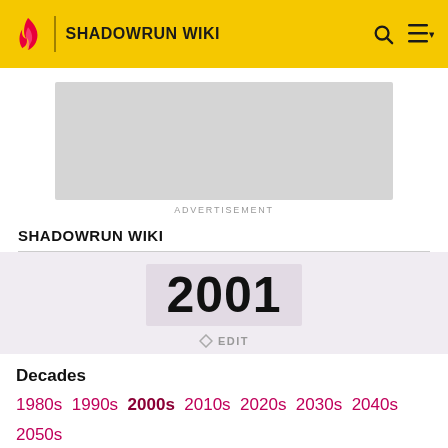SHADOWRUN WIKI
[Figure (other): Advertisement placeholder box]
ADVERTISEMENT
SHADOWRUN WIKI
2001
◇ EDIT
Decades
1980s 1990s 2000s 2010s 2020s 2030s 2040s 2050s 2060s 2070s 2080s